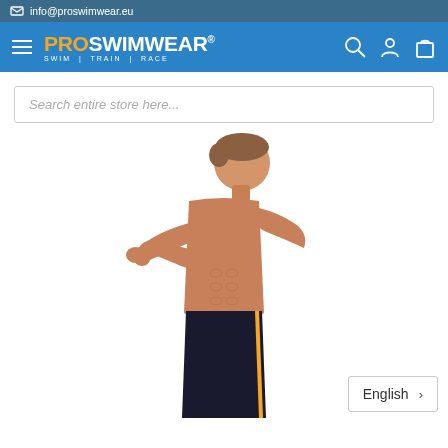info@proswimwear.eu
[Figure (logo): PROSWIMWEAR logo with tagline SWIM | TRAIN | RACE on blue navigation bar with hamburger menu, search icon, user icon, and cart icon]
[Figure (photo): Young teenage boy in black swim shorts doing a shoulder stretch, photographed from the side against a white background]
Search entire store here...
English >